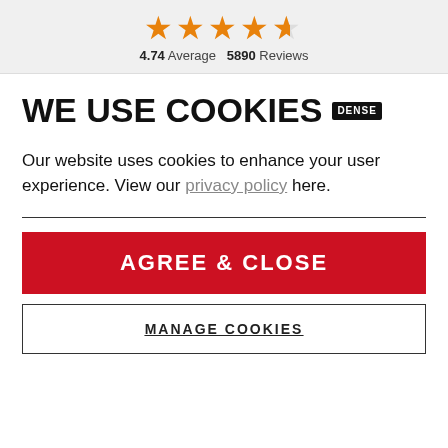[Figure (other): 5-star rating display showing 4.74 average out of 5 stars (4 full stars and 1 half star in orange). Text: 4.74 Average  5890 Reviews]
WE USE COOKIES [DENSE]
Our website uses cookies to enhance your user experience. View our privacy policy here.
AGREE & CLOSE
MANAGE COOKIES